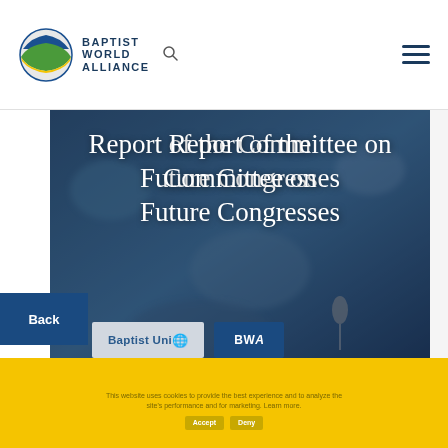Baptist World Alliance
[Figure (logo): Baptist World Alliance logo with circular globe icon and text BAPTIST WORLD ALLIANCE]
Report of the Committee on Future Congresses
Back
Baptist Union
BWA
Cookie notice text with Accept and Decline buttons